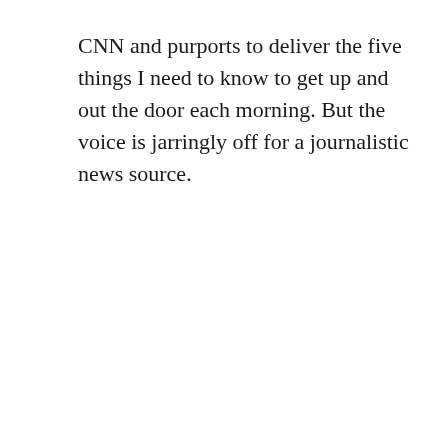CNN and purports to deliver the five things I need to know to get up and out the door each morning. But the voice is jarringly off for a journalistic news source.